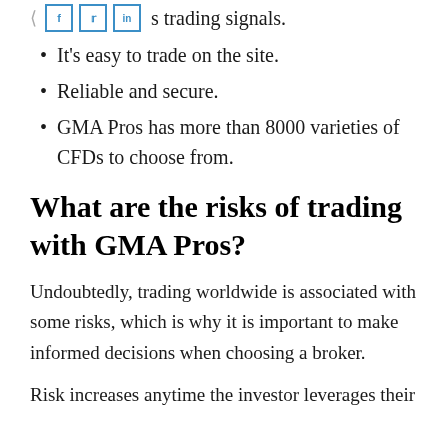s trading signals.
It's easy to trade on the site.
Reliable and secure.
GMA Pros has more than 8000 varieties of CFDs to choose from.
What are the risks of trading with GMA Pros?
Undoubtedly, trading worldwide is associated with some risks, which is why it is important to make informed decisions when choosing a broker.
Risk increases anytime the investor leverages their